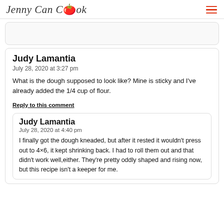Jenny Can Cook
[partial comment card at top, clipped]
Judy Lamantia
July 28, 2020 at 3:27 pm
What is the dough supposed to look like? Mine is sticky and I've already added the 1/4 cup of flour.
Reply to this comment
Judy Lamantia
July 28, 2020 at 4:40 pm
I finally got the dough kneaded, but after it rested it wouldn't press out to 4×6, it kept shrinking back. I had to roll them out and that didn't work well,either. They're pretty oddly shaped and rising now, but this recipe isn't a keeper for me.